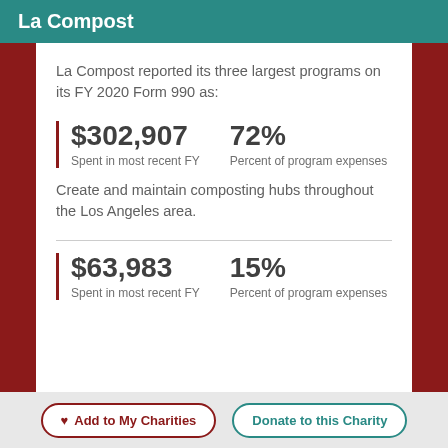La Compost
La Compost reported its three largest programs on its FY 2020 Form 990 as:
$302,907
Spent in most recent FY
72%
Percent of program expenses
Create and maintain composting hubs throughout the Los Angeles area.
$63,983
Spent in most recent FY
15%
Percent of program expenses